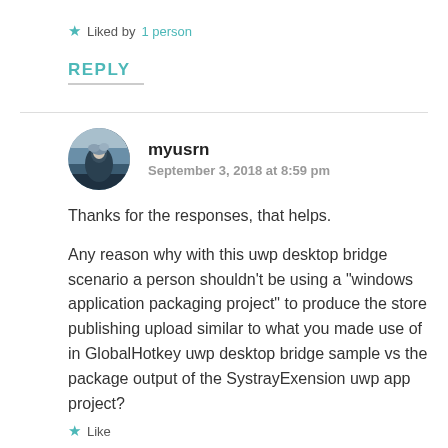★ Liked by 1 person
REPLY
myusrn
September 3, 2018 at 8:59 pm
Thanks for the responses, that helps.
Any reason why with this uwp desktop bridge scenario a person shouldn't be using a “windows application packaging project” to produce the store publishing upload similar to what you made use of in GlobalHotkey uwp desktop bridge sample vs the package output of the SystrayExension uwp app project?
★ Like